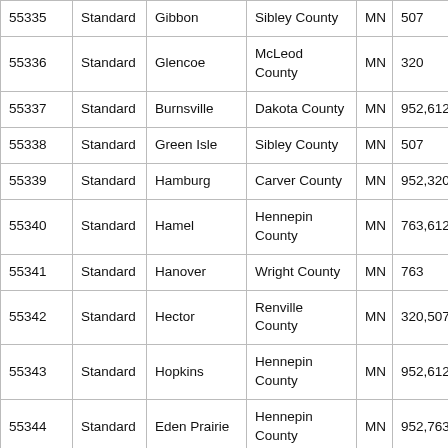| 55335 | Standard | Gibbon | Sibley County | MN | 507 |
| 55336 | Standard | Glencoe | McLeod County | MN | 320 |
| 55337 | Standard | Burnsville | Dakota County | MN | 952,612,651 |
| 55338 | Standard | Green Isle | Sibley County | MN | 507 |
| 55339 | Standard | Hamburg | Carver County | MN | 952,320 |
| 55340 | Standard | Hamel | Hennepin County | MN | 763,612 |
| 55341 | Standard | Hanover | Wright County | MN | 763 |
| 55342 | Standard | Hector | Renville County | MN | 320,507 |
| 55343 | Standard | Hopkins | Hennepin County | MN | 952,612 |
| 55344 | Standard | Eden Prairie | Hennepin County | MN | 952,763,612 |
| 55345 | Standard | Minnetonka | Hennepin County | MN | 612,952 |
|  |  |  | Hennepin |  |  |